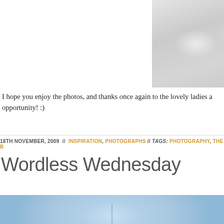[Figure (photo): Close-up photo of white rope or twine coiled and looped, in shades of white and light grey]
I hope you enjoy the photos, and thanks once again to the lovely ladies a opportunity! :)
18TH NOVEMBER, 2009 // INSPIRATION, PHOTOGRAPHS // TAGS: PHOTOGRAPHY, THE ...
Wordless Wednesday
[Figure (photo): Blurred soft-focus blue and white background photo, possibly a window or sky scene with a thin vertical element]